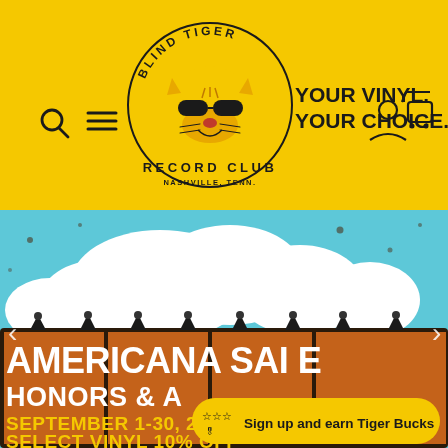[Figure (screenshot): Blind Tiger Record Club website header on yellow background with logo (tiger with sunglasses), search and menu icons on left, 'YOUR VINYL. YOUR CHOICE.' slogan in bold black, user and cart icons on right]
[Figure (screenshot): Hero promotional image showing an orange billboard sign with white bold text 'AMERICANA SALE', 'HONORS & A...', 'SEPTEMBER 1-30, 2022', 'SELECT VINYL 10% OFF' against a sky with clouds background. A yellow popup overlay reads 'Sign up and earn Tiger Bucks' with star ribbon icon.]